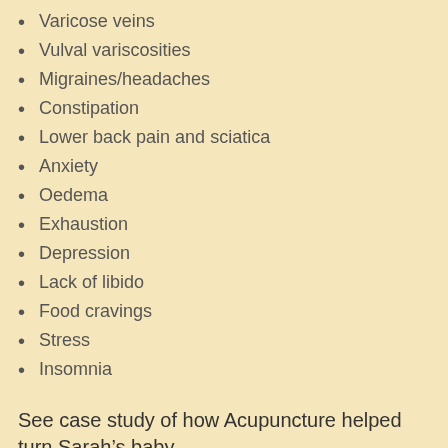Varicose veins
Vulval variscosities
Migraines/headaches
Constipation
Lower back pain and sciatica
Anxiety
Oedema
Exhaustion
Depression
Lack of libido
Food cravings
Stress
Insomnia
See case study of how Acupuncture helped turn Sarah’s baby
We use cookies to ensure that we give you the best experience on our website. If you continue to use this site we will assume that you are happy with it.
Hyperemisis is the most severe form of nausea and vomiting during pregnancy. It affects 1% of all pregnant Woman becoming so severe that hospitalisation is required, the only option available is IV rehydration and nutrition